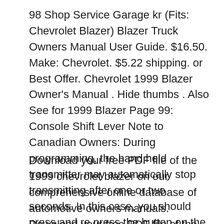98 Shop Service Garage kr (Fits: Chevrolet Blazer) Blazer Truck Owners Manual User Guide. $16.50. Make: Chevrolet. $5.22 shipping. or Best Offer. Chevrolet 1999 Blazer Owner's Manual . Hide thumbs . Also See for 1999 Blazer Page 99: Console Shift Lever Note to Canadian Owners: During programming, the hand held transmitter may automatically stop transmitting after one or two seconds. In this case, you should press and re press the button on the hand transmitter every two seconds
Download your free PDF file of the 1999 chevrolet blazer on our comprehensive online database of automotive owners manuals. Download your free PDF file of the 1999 chevrolet blazer on our comprehensive online database of automotive owners manuals.